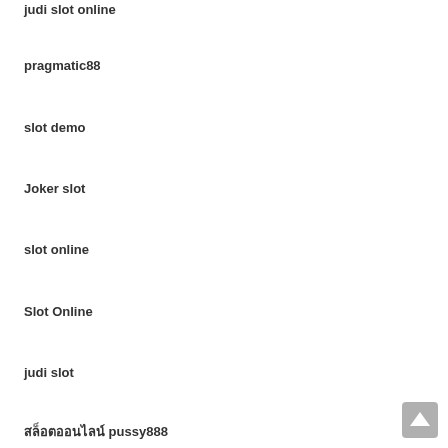judi slot online
pragmatic88
slot demo
Joker slot
slot online
Slot Online
judi slot
สล็อตออนไลน์ pussy888